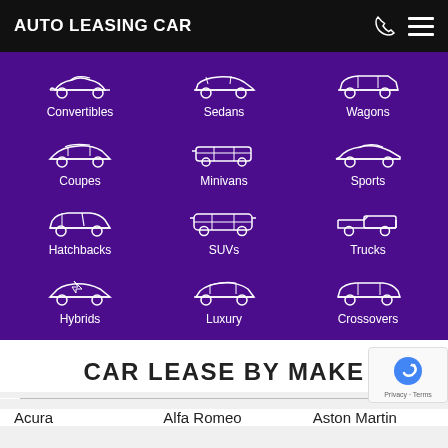AUTO LEASING CAR
[Figure (infographic): Purple grid of 12 car category icons with labels: Convertibles, Sedans, Wagons, Coupes, Minivans, Sports, Hatchbacks, SUVs, Trucks, Hybrids, Luxury, Crossovers]
CAR LEASE BY MAKE
Acura
Alfa Romeo
Aston Martin